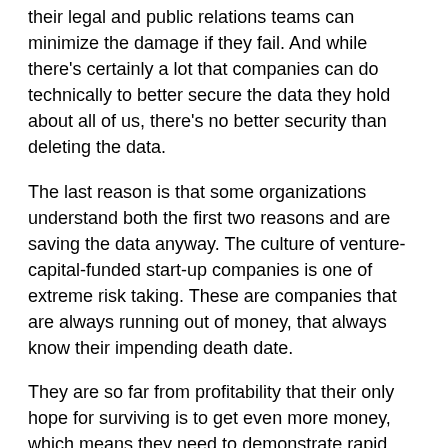their legal and public relations teams can minimize the damage if they fail. And while there's certainly a lot that companies can do technically to better secure the data they hold about all of us, there's no better security than deleting the data.
The last reason is that some organizations understand both the first two reasons and are saving the data anyway. The culture of venture-capital-funded start-up companies is one of extreme risk taking. These are companies that are always running out of money, that always know their impending death date.
They are so far from profitability that their only hope for surviving is to get even more money, which means they need to demonstrate rapid growth or increasing value. This motivates those companies to take risks that larger, more established, companies would never take. They might take extreme chances with our data, even flout regulations, because they literally have nothing to lose. And often, the most profitable business models are the most risky and dangerous ones.